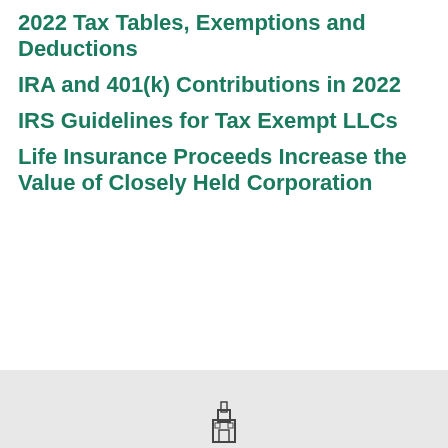2022 Tax Tables, Exemptions and Deductions
IRA and 401(k) Contributions in 2022
IRS Guidelines for Tax Exempt LLCs
Life Insurance Proceeds Increase the Value of Closely Held Corporation
[Figure (logo): Small building/tower logo icon in dark color at the bottom footer area]